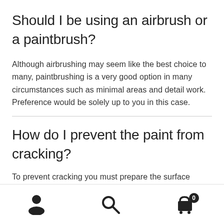Should I be using an airbrush or a paintbrush?
Although airbrushing may seem like the best choice to many, paintbrushing is a very good option in many circumstances such as minimal areas and detail work. Preference would be solely up to you in this case.
How do I prevent the paint from cracking?
To prevent cracking you must prepare the surface
[navigation bar with user, search, and cart icons]